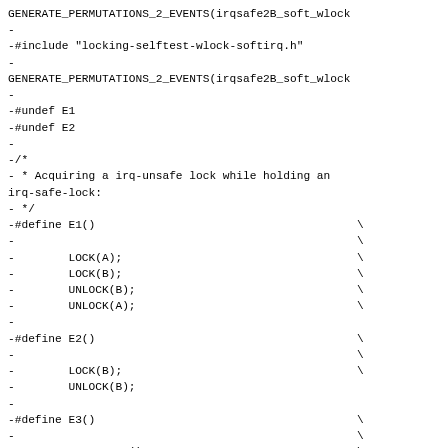GENERATE_PERMUTATIONS_2_EVENTS(irqsafe2B_soft_wlock
-
-#include "locking-selftest-wlock-softirq.h"
-
GENERATE_PERMUTATIONS_2_EVENTS(irqsafe2B_soft_wlock
-
-#undef E1
-#undef E2
-
-/*
- * Acquiring a irq-unsafe lock while holding an irq-safe-lock:
- */
-#define E1()                                               \
-                                                           \
-        LOCK(A);                                           \
-        LOCK(B);                                           \
-        UNLOCK(B);                                         \
-        UNLOCK(A);                                         \
-
-#define E2()                                               \
-                                                           \
-        LOCK(B);                                           \
-        UNLOCK(B);
-
-#define E3()                                               \
-                                                           \
-        IRQ_ENTER();                                       \
-        LOCK(A);                                           \
-        UNLOCK(A);                                         \
-        IRQ_EXIT();